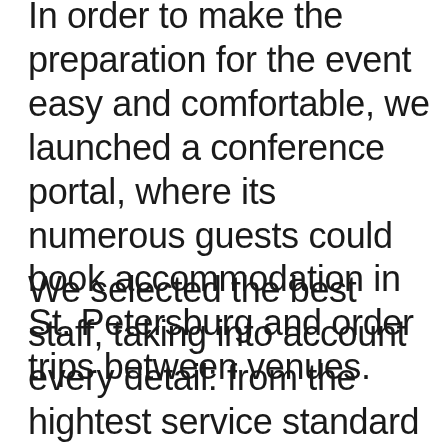In order to make the preparation for the event easy and comfortable, we launched a conference portal, where its numerous guests could book accommodation in St. Petersburg and order trips between venues.
We selected the best staff, taking into account every detail: from the hightest service standard to originally designed uniform.